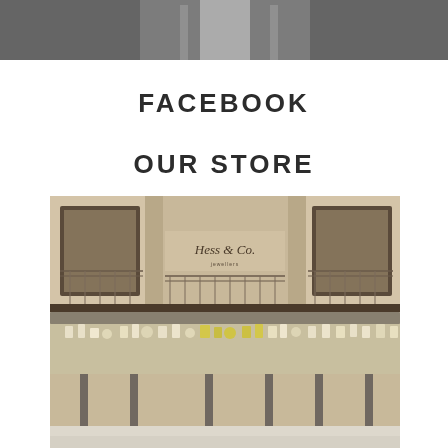[Figure (photo): Top portion of a photo showing people in a store or event, cropped at top of page, dark/grey tones]
FACEBOOK
OUR STORE
[Figure (photo): Interior photo of Hess & Co. jewelry store showing glass display cases filled with jewelry pieces, stone facade visible in background with Hess & Co. signage]